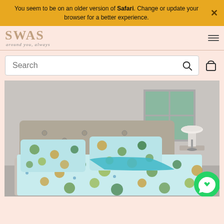You seem to be on an older version of Safari. Change or update your browser for a better experience.
[Figure (screenshot): Website header with SWAS logo and tagline 'around you, always', hamburger menu icon]
[Figure (screenshot): Search bar with magnifying glass icon and shopping bag icon on pink/peach background]
[Figure (photo): Product photo of floral patterned bedding set with blue, green, and gold botanical print on a styled bed with pillows]